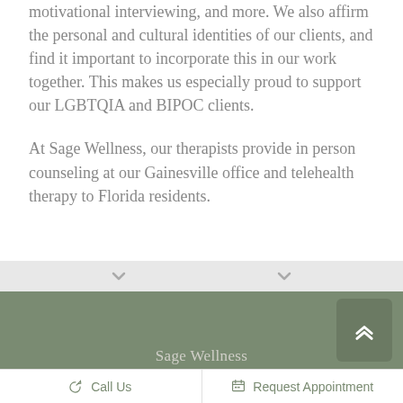motivational interviewing, and more. We also affirm the personal and cultural identities of our clients, and find it important to incorporate this in our work together. This makes us especially proud to support our LGBTQIA and BIPOC clients.
At Sage Wellness, our therapists provide in person counseling at our Gainesville office and telehealth therapy to Florida residents.
Sage Wellness